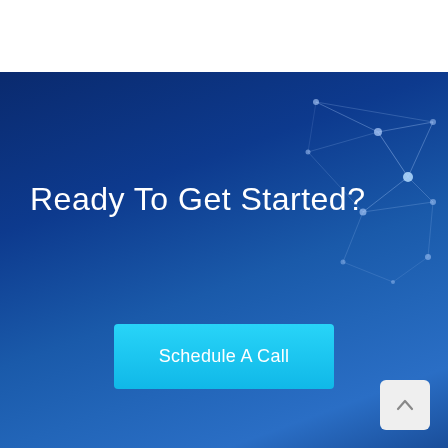[Figure (illustration): Dark blue gradient background with network/plexus lines and nodes in the upper right corner, representing a technology/connectivity theme.]
Ready To Get Started?
Schedule A Call
[Figure (other): A light grey rounded square button with an upward-pointing chevron arrow, used as a scroll-to-top button.]